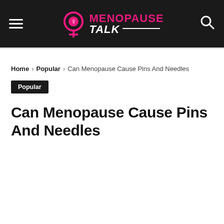Menopause Talk — navigation header with logo
Home › Popular › Can Menopause Cause Pins And Needles
Popular
Can Menopause Cause Pins And Needles